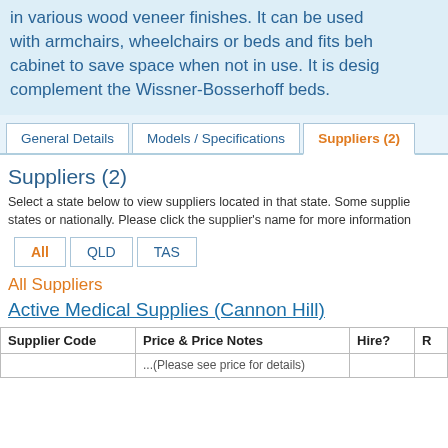in various wood veneer finishes. It can be used with armchairs, wheelchairs or beds and fits behind cabinet to save space when not in use. It is designed to complement the Wissner-Bosserhoff beds.
Tabs: General Details | Models / Specifications | Suppliers (2)
Suppliers (2)
Select a state below to view suppliers located in that state. Some suppliers operate in multiple states or nationally. Please click the supplier's name for more information.
State filter tabs: All | QLD | TAS
All Suppliers
Active Medical Supplies (Cannon Hill)
| Supplier Code | Price & Price Notes | Hire? | R |
| --- | --- | --- | --- |
|  | ...(Please see price for details) |  |  |